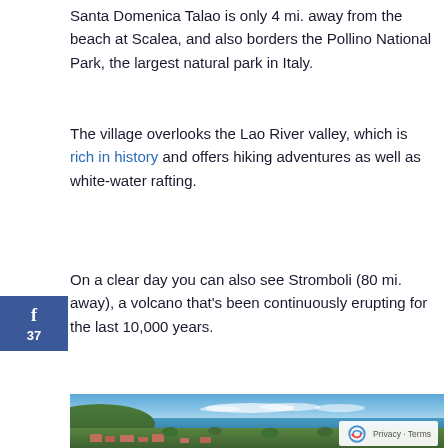Santa Domenica Talao is only 4 mi. away from the beach at Scalea, and also borders the Pollino National Park, the largest natural park in Italy.
The village overlooks the Lao River valley, which is rich in history and offers hiking adventures as well as white-water rafting.
On a clear day you can also see Stromboli (80 mi. away), a volcano that's been continuously erupting for the last 10,000 years.
[Figure (photo): Panoramic view of a coastal Italian village with green hills, terracotta rooftops, blue sea and sky, and distant white clouds on the horizon. A reCAPTCHA privacy badge appears in the bottom right corner.]